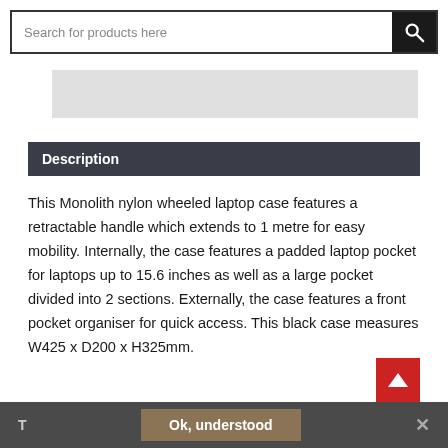[Figure (screenshot): Search bar with text input 'Search for products here' and a black search button with magnifying glass icon]
[Figure (other): Gray rectangular image placeholder area]
Description
This Monolith nylon wheeled laptop case features a retractable handle which extends to 1 metre for easy mobility. Internally, the case features a padded laptop pocket for laptops up to 15.6 inches as well as a large pocket divided into 2 sections. Externally, the case features a front pocket organiser for quick access. This black case measures W425 x D200 x H325mm.
T  Ok, understood  ×